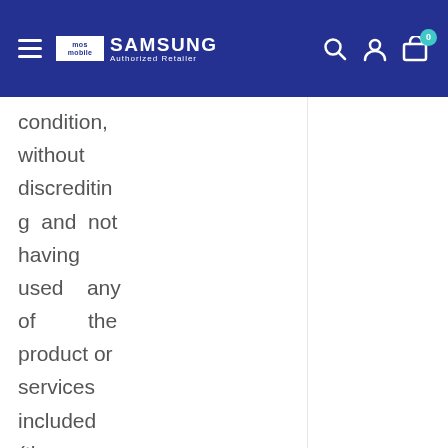Samsung Authorized Retailer - mosmobile
condition, without discrediting and not having used any of the product or services included (the screen protector should be